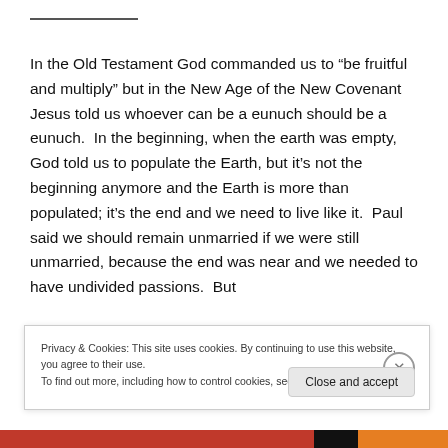In the Old Testament God commanded us to “be fruitful and multiply” but in the New Age of the New Covenant Jesus told us whoever can be a eunuch should be a eunuch.  In the beginning, when the earth was empty, God told us to populate the Earth, but it’s not the beginning anymore and the Earth is more than populated; it’s the end and we need to live like it.  Paul said we should remain unmarried if we were still unmarried, because the end was near and we needed to have undivided passions.  But
Privacy & Cookies: This site uses cookies. By continuing to use this website, you agree to their use.
To find out more, including how to control cookies, see here: Cookie Policy